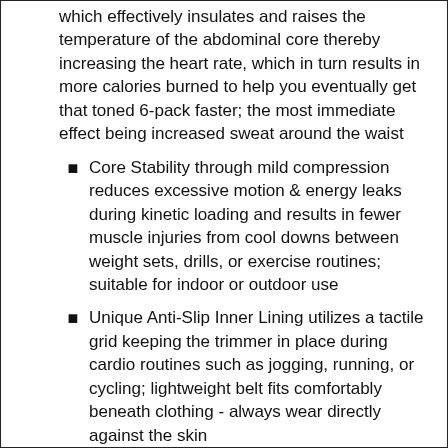which effectively insulates and raises the temperature of the abdominal core thereby increasing the heart rate, which in turn results in more calories burned to help you eventually get that toned 6-pack faster; the most immediate effect being increased sweat around the waist
Core Stability through mild compression reduces excessive motion & energy leaks during kinetic loading and results in fewer muscle injuries from cool downs between weight sets, drills, or exercise routines; suitable for indoor or outdoor use
Unique Anti-Slip Inner Lining utilizes a tactile grid keeping the trimmer in place during cardio routines such as jogging, running, or cycling; lightweight belt fits comfortably beneath clothing - always wear directly against the skin